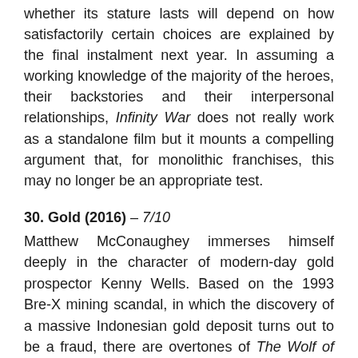whether its stature lasts will depend on how satisfactorily certain choices are explained by the final instalment next year. In assuming a working knowledge of the majority of the heroes, their backstories and their interpersonal relationships, Infinity War does not really work as a standalone film but it mounts a compelling argument that, for monolithic franchises, this may no longer be an appropriate test.
30. Gold (2016) – 7/10
Matthew McConaughey immerses himself deeply in the character of modern-day gold prospector Kenny Wells. Based on the 1993 Bre-X mining scandal, in which the discovery of a massive Indonesian gold deposit turns out to be a fraud, there are overtones of The Wolf of Wall Street to this fictionalised account, albeit with a protagonist at once less charming but more